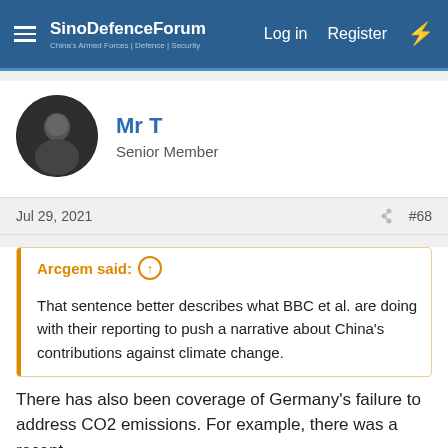SinoDefenceForum | Log in | Register
Mr T
Senior Member
Jul 29, 2021  #68
Arcgem said:  That sentence better describes what BBC et al. are doing with their reporting to push a narrative about China's contributions against climate change.
There has also been coverage of Germany's failure to address CO2 emissions. For example, there was a recent
Please, Log in or Register to view URLs content!
about how the floods are forcing the German political elite to confront the issue. See this